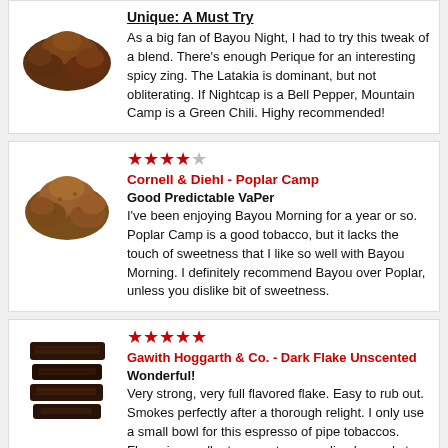Unique: A Must Try
As a big fan of Bayou Night, I had to try this tweak of a blend. There's enough Perique for an interesting spicy zing. The Latakia is dominant, but not obliterating. If Nightcap is a Bell Pepper, Mountain Camp is a Green Chili. Highy recommended!
Cornell & Diehl - Poplar Camp
Good Predictable VaPer
I've been enjoying Bayou Morning for a year or so. Poplar Camp is a good tobacco, but it lacks the touch of sweetness that I like so well with Bayou Morning. I definitely recommend Bayou over Poplar, unless you dislike bit of sweetness.
Gawith Hoggarth & Co. - Dark Flake Unscented
Wonderful!
Very strong, very full flavored flake. Easy to rub out. Smokes perfectly after a thorough relight. I only use a small bowl for this espresso of pipe tobaccos. Flavor is excellent... sweet, caramelized, woody to the bottom of the bowl. Perfect with strong coffee. No more than the